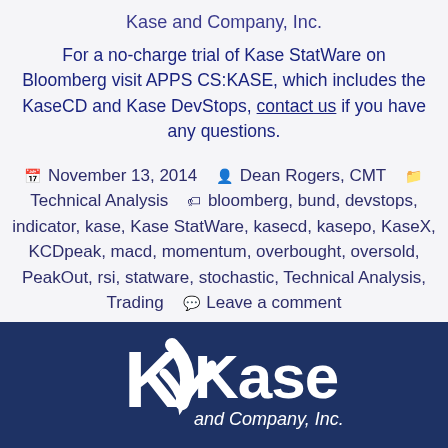Kase and Company, Inc.
For a no-charge trial of Kase StatWare on Bloomberg visit APPS CS:KASE, which includes the KaseCD and Kase DevStops, contact us if you have any questions.
November 13, 2014  Dean Rogers, CMT  Technical Analysis  bloomberg, bund, devstops, indicator, kase, Kase StatWare, kasecd, kasepo, KaseX, KCDpeak, macd, momentum, overbought, oversold, PeakOut, rsi, statware, stochastic, Technical Analysis, Trading  Leave a comment
[Figure (logo): Kase and Company, Inc. logo — white K and stylized checkmark icon with 'Kase and Company, Inc.' text on dark navy blue background]